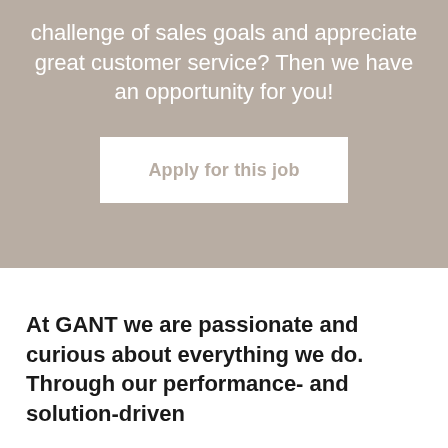challenge of sales goals and appreciate great customer service? Then we have an opportunity for you!
Apply for this job
At GANT we are passionate and curious about everything we do. Through our performance- and solution-driven